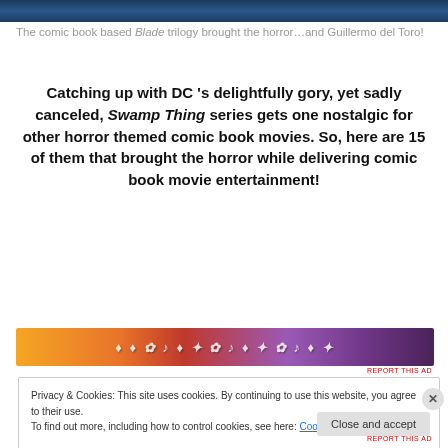[Figure (photo): Top portion of a dark blue cinematic image, partially visible at the very top of the page]
The comic book based Blade trilogy brought the horror…and Guillermo del Toro!
Catching up with DC 's delightfully gory, yet sadly canceled, Swamp Thing series gets one nostalgic for other horror themed comic book movies. So, here are 15 of them that brought the horror while delivering comic book movie entertainment!
[Figure (other): Colorful advertisement banner with orange to purple gradient, featuring decorative text and music/party symbols]
Privacy & Cookies: This site uses cookies. By continuing to use this website, you agree to their use.
To find out more, including how to control cookies, see here: Cookie Policy